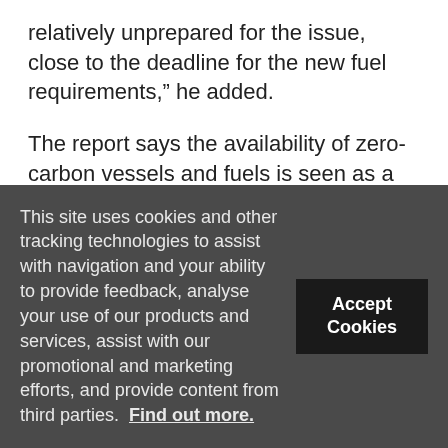relatively unprepared for the issue, close to the deadline for the new fuel requirements,” he added.
The report says the availability of zero-carbon vessels and fuels is seen as a major barrier to shipping’s decarbonisation.
Johannah Christensen, the forum’s head of projects, added: “Commercially viable zero-emission vessels powered by zero-emission fuels must start entering
This site uses cookies and other tracking technologies to assist with navigation and your ability to provide feedback, analyse your use of our products and services, assist with our promotional and marketing efforts, and provide content from third parties.  Find out more.